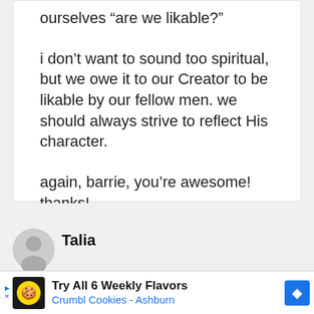ourselves “are we likable?”
i don’t want to sound too spiritual, but we owe it to our Creator to be likable by our fellow men. we should always strive to reflect His character.
again, barrie, you’re awesome! thanks!
Talia
Try All 6 Weekly Flavors Crumbl Cookies - Ashburn